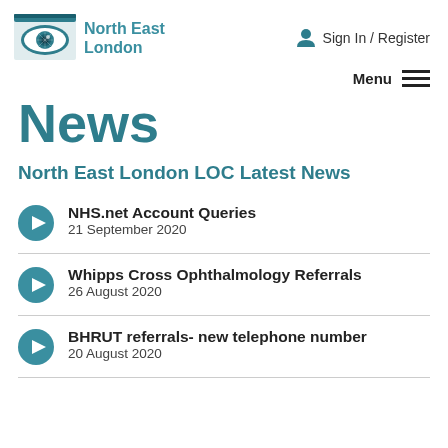North East London | Sign In / Register
News
North East London LOC Latest News
NHS.net Account Queries
21 September 2020
Whipps Cross Ophthalmology Referrals
26 August 2020
BHRUT referrals- new telephone number
20 August 2020